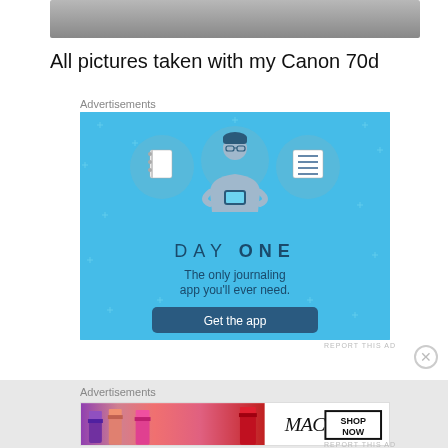[Figure (photo): Grey gradient image bar at top of page, partially cropped]
All pictures taken with my Canon 70d
Advertisements
[Figure (illustration): Day One journaling app advertisement. Blue background with sparkle dots, three circular icons (notebook, person, list), cartoon figure of person using phone, text 'DAY ONE', 'The only journaling app you'll ever need.', blue 'Get the app' button.]
REPORT THIS AD
Advertisements
[Figure (photo): MAC cosmetics advertisement with colorful lipsticks on left, MAC logo and 'SHOP NOW' box on right.]